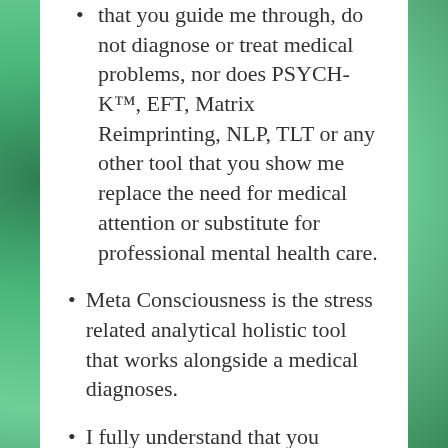that you guide me through, do not diagnose or treat medical problems, nor does PSYCH-K™, EFT, Matrix Reimprinting, NLP, TLT or any other tool that you show me replace the need for medical attention or substitute for professional mental health care.
Meta Consciousness is the stress related analytical holistic tool that works alongside a medical diagnoses.
I fully understand that you recommend that I visit a licensed physician or mental health counsellor/psychiatrist if I have a serious physical or mental health problem and that I should consult with this physician or nutritionist before I